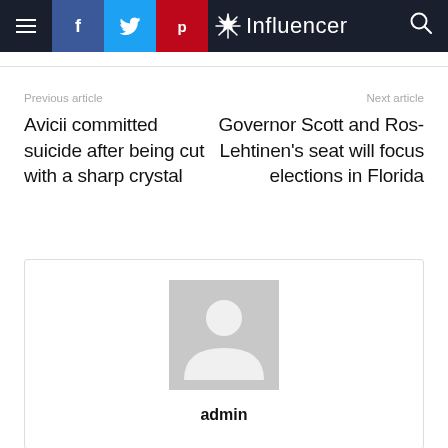Influencer
Previous article
Avicii committed suicide after being cut with a sharp crystal
Next article
Governor Scott and Ros-Lehtinen's seat will focus elections in Florida
[Figure (illustration): Default user avatar placeholder with silhouette of a person on a grey background, with the label 'admin' below.]